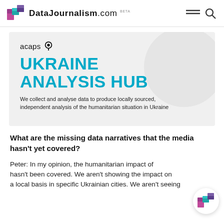DataJournalism.com BETA
[Figure (screenshot): ACAPS Ukraine Analysis Hub banner with teal title text on grey background with circular watermark. Text reads: acaps [pin icon] / UKRAINE ANALYSIS HUB / We collect and analyse data to produce locally sourced, independent analysis of the humanitarian situation in Ukraine]
What are the missing data narratives that the media hasn't yet covered?
Peter: In my opinion, the humanitarian impact of hasn't been covered. We aren't showing the impact on a local basis in specific Ukrainian cities. We aren't seeing